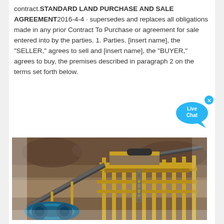contract.STANDARD LAND PURCHASE AND SALE AGREEMENT2016-4-4 · supersedes and replaces all obligations made in any prior Contract To Purchase or agreement for sale entered into by the parties. 1. Parties. [insert name], the "SELLER," agrees to sell and [insert name], the "BUYER," agrees to buy, the premises described in paragraph 2 on the terms set forth below.
[Figure (photo): Mining or quarry equipment with yellow steel structures, conveyor belts, ladders, and a blue machine component in the foreground, set against a rocky hillside background.]